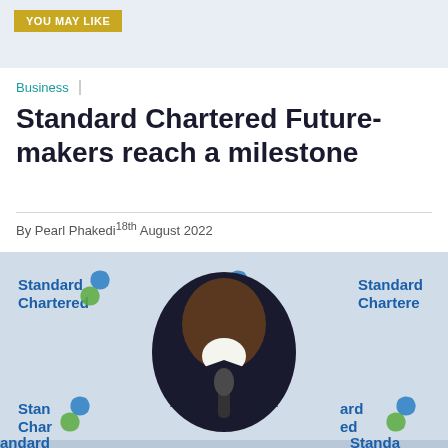YOU MAY LIKE
Business
Standard Chartered Future-makers reach a milestone
By Pearl Phakedi18th August 2022
[Figure (photo): A man in a dark suit speaking into a microphone, standing in front of a Standard Chartered branded backdrop with the bank's logo visible multiple times in the background.]